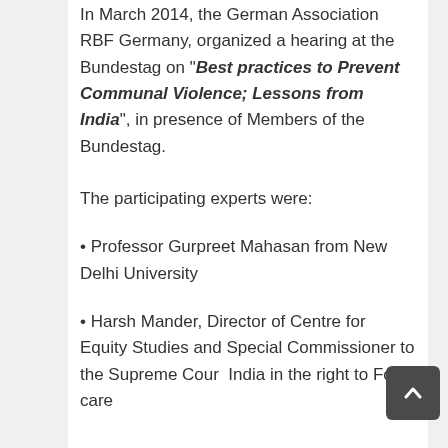In March 2014, the German Association RBF Germany, organized a hearing at the Bundestag on "Best practices to Prevent Communal Violence; Lessons from India", in presence of Members of the Bundestag.
The participating experts were:
• Professor Gurpreet Mahasan from New Delhi University
• Harsh Mander, Director of Centre for Equity Studies and Special Commissioner to the Supreme Court India in the right to Food care